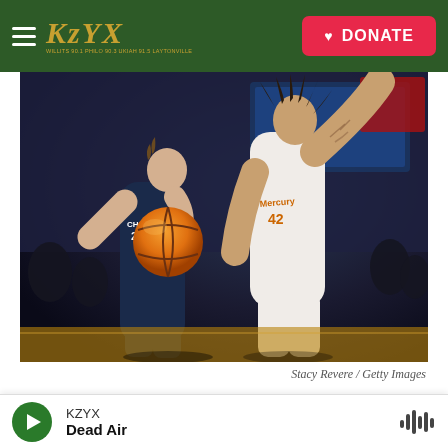KZYX | DONATE
[Figure (photo): Two WNBA basketball players in action — one in a dark Chicago Sky uniform attempting a shot while holding a basketball, the other in a white Phoenix Mercury uniform (number 42, Brittney Griner) reaching up to block the shot. Arena crowd visible in the background.]
Stacy Revere / Getty Images
WNBA players Courtney Vandersloot of the Chicago Sky (L) and
KZYX — Dead Air